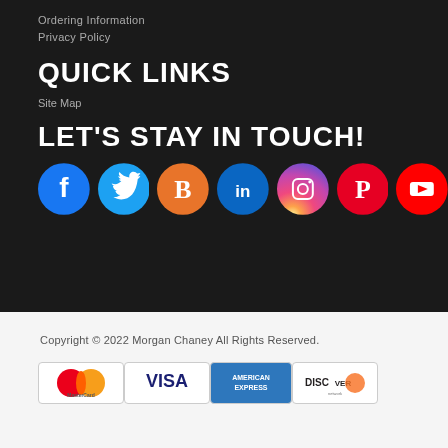Ordering Information
Privacy Policy
QUICK LINKS
Site Map
LET'S STAY IN TOUCH!
[Figure (infographic): Social media icons: Facebook (blue), Twitter (cyan), Blogger (orange), LinkedIn (dark blue), Instagram (gradient), Pinterest (red), YouTube (red)]
Copyright © 2022 Morgan Chaney All Rights Reserved.
[Figure (infographic): Payment method logos: MasterCard, VISA, American Express, Discover]